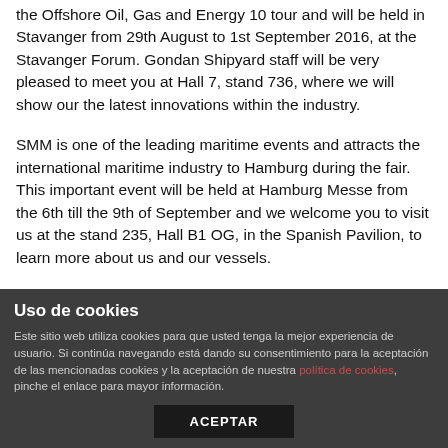the Offshore Oil, Gas and Energy 10 tour and will be held in Stavanger from 29th August to 1st September 2016, at the Stavanger Forum. Gondan Shipyard staff will be very pleased to meet you at Hall 7, stand 736, where we will show our the latest innovations within the industry.
SMM is one of the leading maritime events and attracts the international maritime industry to Hamburg during the fair. This important event will be held at Hamburg Messe from the 6th till the 9th of September and we welcome you to visit us at the stand 235, Hall B1 OG, in the Spanish Pavilion, to learn more about us and our vessels.
Uso de cookies
Este sitio web utiliza cookies para que usted tenga la mejor experiencia de usuario. Si continúa navegando está dando su consentimiento para la aceptación de las mencionadas cookies y la aceptación de nuestra política de cookies, pinche el enlace para mayor información.